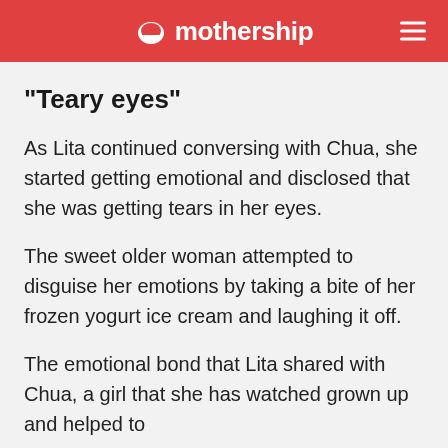mothership
"Teary eyes"
As Lita continued conversing with Chua, she started getting emotional and disclosed that she was getting tears in her eyes.
The sweet older woman attempted to disguise her emotions by taking a bite of her frozen yogurt ice cream and laughing it off.
The emotional bond that Lita shared with Chua, a girl that she has watched grown up and helped to